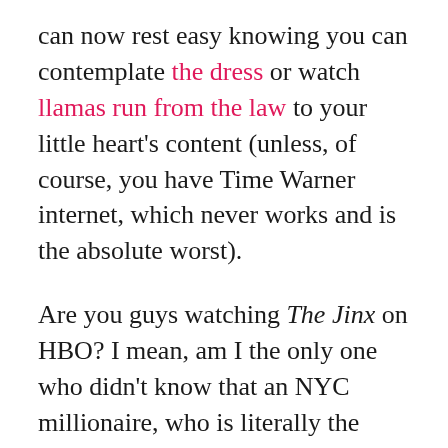can now rest easy knowing you can contemplate the dress or watch llamas run from the law to your little heart's content (unless, of course, you have Time Warner internet, which never works and is the absolute worst).
Are you guys watching The Jinx on HBO? I mean, am I the only one who didn't know that an NYC millionaire, who is literally the worst liar in the world, killed his wife, then killed his friend, then killed a third person while he was posing as a mute lady in